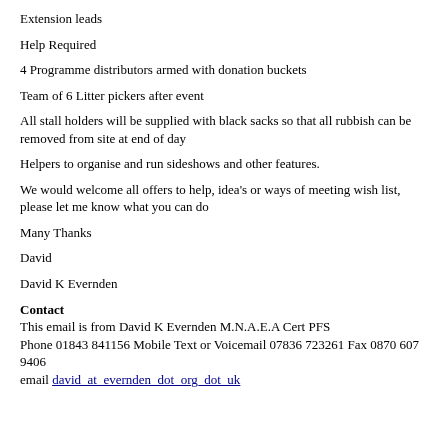Extension leads
Help Required
4 Programme distributors armed with donation buckets
Team of 6 Litter pickers after event
All stall holders will be supplied with black sacks so that all rubbish can be removed from site at end of day
Helpers to organise and run sideshows and other features.
We would welcome all offers to help, idea's or ways of meeting wish list, please let me know what you can do
Many Thanks
David
David K Evernden
Contact
This email is from David K Evernden M.N.A.E.A Cert PFS
Phone 01843 841156 Mobile Text or Voicemail 07836 723261 Fax 0870 607 9406
email david_at_evernden_dot_org_dot_uk